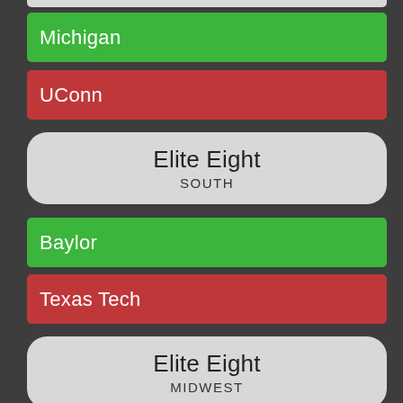Michigan
UConn
Elite Eight
SOUTH
Baylor
Texas Tech
Elite Eight
MIDWEST
Illinois
Houston